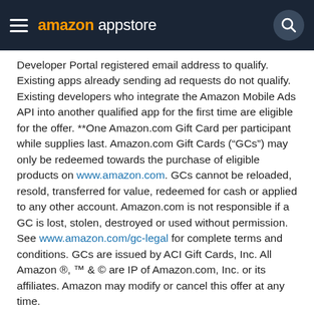amazon appstore
Developer Portal registered email address to qualify. Existing apps already sending ad requests do not qualify. Existing developers who integrate the Amazon Mobile Ads API into another qualified app for the first time are eligible for the offer. **One Amazon.com Gift Card per participant while supplies last. Amazon.com Gift Cards (“GCs”) may only be redeemed towards the purchase of eligible products on www.amazon.com. GCs cannot be reloaded, resold, transferred for value, redeemed for cash or applied to any other account. Amazon.com is not responsible if a GC is lost, stolen, destroyed or used without permission. See www.amazon.com/gc-legal for complete terms and conditions. GCs are issued by ACI Gift Cards, Inc. All Amazon ®, ™ & © are IP of Amazon.com, Inc. or its affiliates. Amazon may modify or cancel this offer at any time.